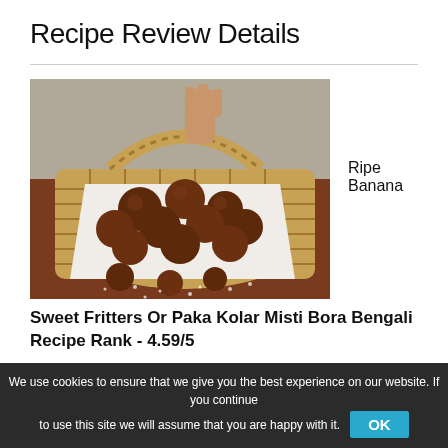Recipe Review Details
[Figure (photo): Photo of sweet fritters (Paka Kolar Misti Bora) in a wicker basket with powdered sugar, hand reaching in from top]
Ripe Banana
Sweet Fritters Or Paka Kolar Misti Bora Bengali Recipe Rank - 4.59/5
[Figure (other): Red progress bar showing recipe rating approximately 87% filled]
We use cookies to ensure that we give you the best experience on our website. If you continue to use this site we will assume that you are happy with it.